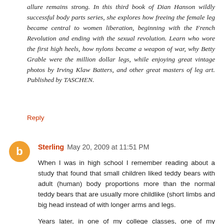allure remains strong. In this third book of Dian Hanson wildly successful body parts series, she explores how freeing the female leg became central to women liberation, beginning with the French Revolution and ending with the sexual revolution. Learn who wore the first high heels, how nylons became a weapon of war, why Betty Grable were the million dollar legs, while enjoying great vintage photos by Irving Klaw Batters, and other great masters of leg art. Published by TASCHEN.
Reply
Sterling  May 20, 2009 at 11:51 PM
When I was in high school I remember reading about a study that found that small children liked teddy bears with adult (human) body proportions more than the normal teddy bears that are usually more childlike (short limbs and big head instead of with longer arms and legs.
Years later, in one of my college classes, one of my teachers said that things designed for kids are supposed to be childlike proportions (so said kids really like it), so th...